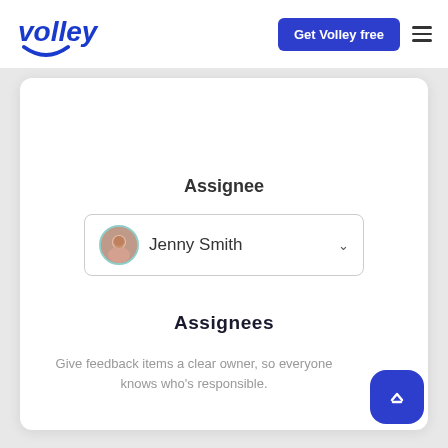volley | Get Volley free
Assignee
Jenny Smith
Assignees
Give feedback items a clear owner, so everyone knows who's responsible.